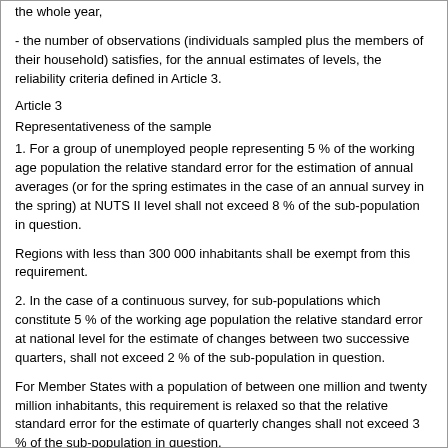the whole year,
- the number of observations (individuals sampled plus the members of their household) satisfies, for the annual estimates of levels, the reliability criteria defined in Article 3.
Article 3
Representativeness of the sample
1. For a group of unemployed people representing 5 % of the working age population the relative standard error for the estimation of annual averages (or for the spring estimates in the case of an annual survey in the spring) at NUTS II level shall not exceed 8 % of the sub-population in question.
Regions with less than 300 000 inhabitants shall be exempt from this requirement.
2. In the case of a continuous survey, for sub-populations which constitute 5 % of the working age population the relative standard error at national level for the estimate of changes between two successive quarters, shall not exceed 2 % of the sub-population in question.
For Member States with a population of between one million and twenty million inhabitants, this requirement is relaxed so that the relative standard error for the estimate of quarterly changes shall not exceed 3 % of the sub-population in question.
Member States whose population is below one million inhabitants are exempt from these precision requirements concerning changes.
3. Where the survey is carried out only in the spring, at least a quarter of the survey units are taken from the